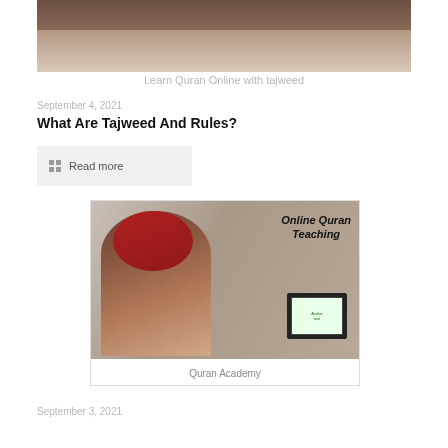[Figure (photo): Top portion of a photo showing people on a patterned carpet, cropped at the top of the page]
Learn Quran Online with tajweed
September 4, 2021
What Are Tajweed And Rules?
Read more
[Figure (photo): Photo of a woman in a red hijab writing, with a laptop showing Arabic text, and text overlay reading 'Online Quran Teaching']
Quran Academy
September 3, 2021